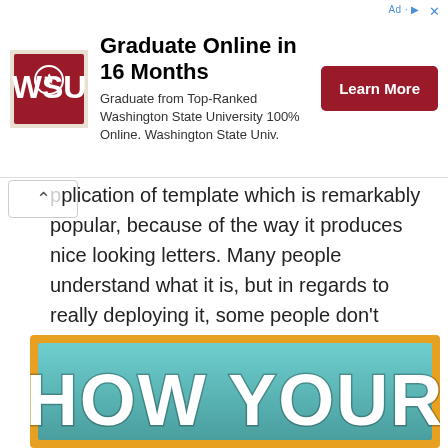[Figure (illustration): Advertisement banner for Washington State University online program. Contains WSU logo, headline 'Graduate Online in 16 Months', subtext 'Graduate from Top-Ranked Washington State University 100% Online. Washington State Univ.', and a red 'Learn More' button.]
pplication of template which is remarkably popular, because of the way it produces nice looking letters. Many people understand what it is, but in regards to really deploying it, some people don't understand what it means.
Resume Template CV Template for Word Cover Letter Two Page Resume Teacher Resume Modern Resume
[Figure (illustration): Decorative resume template preview image with teal gradient background and large bold white text reading 'HOW YOUR']